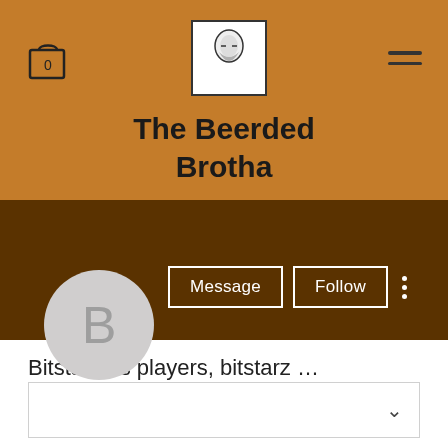[Figure (screenshot): Website header with orange background showing cart icon (0), a bearded man logo, and hamburger menu icon]
The Beerded Brotha
[Figure (illustration): Profile avatar circle with letter B on dark brown background, alongside Message and Follow buttons]
Bitstarz us players, bitstarz …
0 Followers • 0 Following
[Figure (other): Dropdown box with chevron arrow at bottom of profile page]